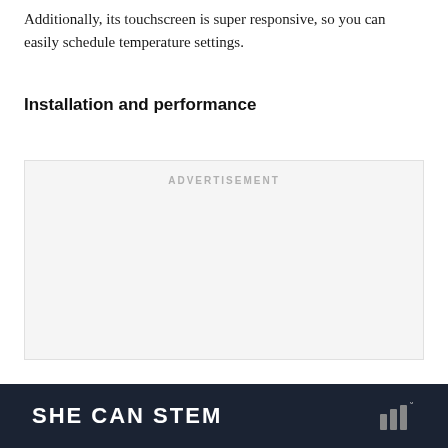Additionally, its touchscreen is super responsive, so you can easily schedule temperature settings.
Installation and performance
[Figure (other): Advertisement placeholder box with 'ADVERTISEMENT' label in light gray text on a light gray background]
SHE CAN STEM